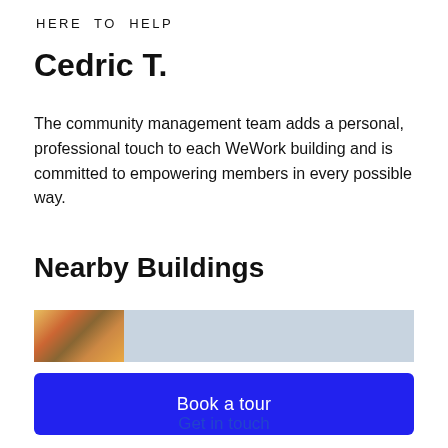HERE TO HELP
Cedric T.
The community management team adds a personal, professional touch to each WeWork building and is committed to empowering members in every possible way.
Nearby Buildings
[Figure (photo): Partial photo strip showing a bookshelf on the left with colorful book spines, and a light-colored interior space on the right]
Book a tour
Get in touch